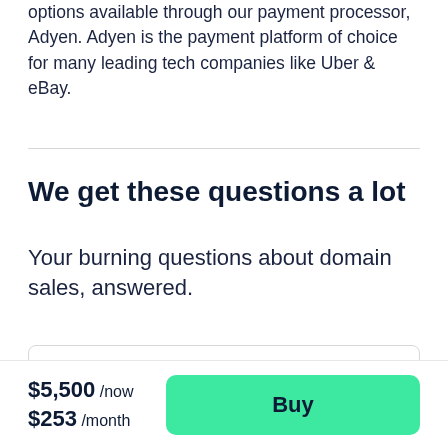options available through our payment processor, Adyen. Adyen is the payment platform of choice for many leading tech companies like Uber & eBay.
We get these questions a lot
Your burning questions about domain sales, answered.
How does your domain ownership...
$5,500 /now $253 /month
Buy